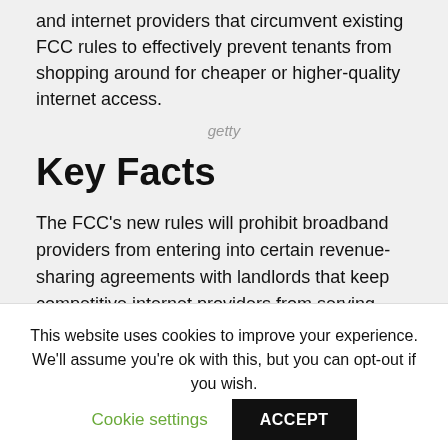and internet providers that circumvent existing FCC rules to effectively prevent tenants from shopping around for cheaper or higher-quality internet access.
getty
Key Facts
The FCC's new rules will prohibit broadband providers from entering into certain revenue-sharing agreements with landlords that keep competitive internet providers from serving tenants, and will require internet providers to inform tenants of exclusive marketing arrangements in “simple, easy-to-understand” language.
This website uses cookies to improve your experience. We'll assume you're ok with this, but you can opt-out if you wish.
Cookie settings
ACCEPT